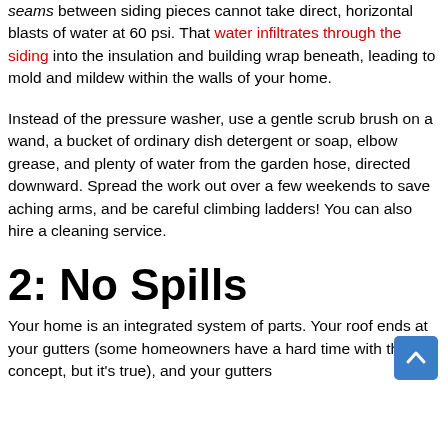seams between siding pieces cannot take direct, horizontal blasts of water at 60 psi. That water infiltrates through the siding into the insulation and building wrap beneath, leading to mold and mildew within the walls of your home.
Instead of the pressure washer, use a gentle scrub brush on a wand, a bucket of ordinary dish detergent or soap, elbow grease, and plenty of water from the garden hose, directed downward. Spread the work out over a few weekends to save aching arms, and be careful climbing ladders! You can also hire a cleaning service.
2: No Spills
Your home is an integrated system of parts. Your roof ends at your gutters (some homeowners have a hard time with this concept, but it's true), and your gutters